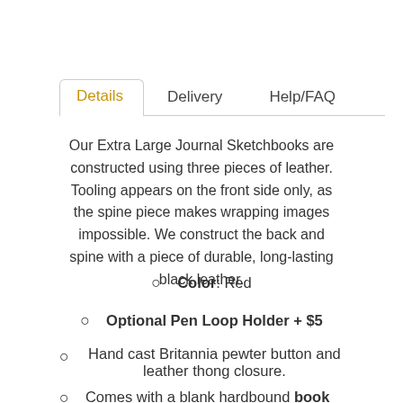Details | Delivery | Help/FAQ
Our Extra Large Journal Sketchbooks are constructed using three pieces of leather. Tooling appears on the front side only, as the spine piece makes wrapping images impossible. We construct the back and spine with a piece of durable, long-lasting black leather.
Color: Red
Optional Pen Loop Holder + $5
Hand cast Britannia pewter button and leather thong closure.
Comes with a blank hardbound book insert Included: soft white, 65 lb, acid